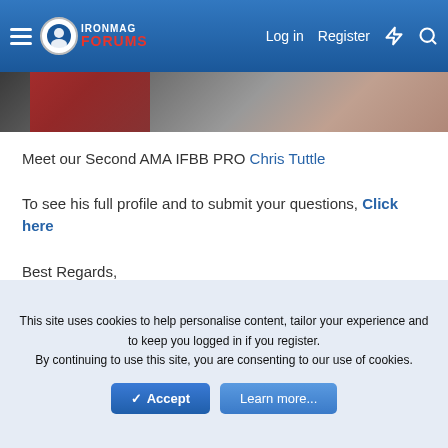IronMag Forums — Log in  Register
[Figure (photo): Partial photo strip showing a person, cropped at top]
Meet our Second AMA IFBB PRO Chris Tuttle
To see his full profile and to submit your questions, Click here
Best Regards,
NapsGear.org
jasonhill800
This site uses cookies to help personalise content, tailor your experience and to keep you logged in if you register.
By continuing to use this site, you are consenting to our use of cookies.